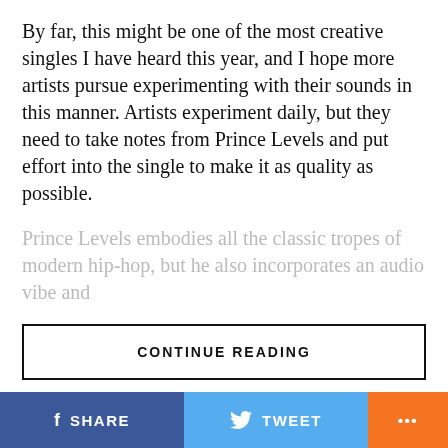By far, this might be one of the most creative singles I have heard this year, and I hope more artists pursue experimenting with their sounds in this manner. Artists experiment daily, but they need to take notes from Prince Levels and put effort into the single to make it as quality as possible.
Prince Levels embodies all the classic tropes of modern hip-hop, but he also incorporates an audio vibe and
CONTINUE READING
MUSIC VIDEOS
Island Wave Releases SXSW Show Highlights In Search of Artists to
SHARE
TWEET
...